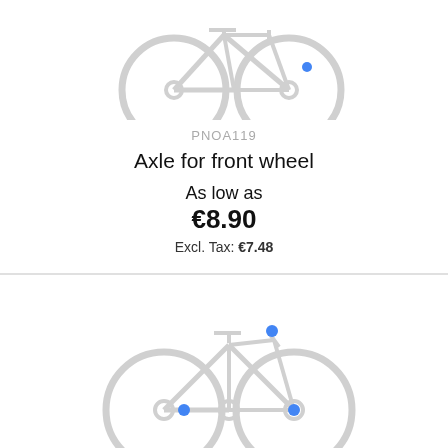[Figure (illustration): Bicycle illustration with blue dot highlighting the front wheel area, shown partially at top of page]
PNOA119
Axle for front wheel
As low as
€8.90
Excl. Tax: €7.48
[Figure (illustration): Bicycle illustration with three blue dots highlighting the handlebar area, bottom bracket, and rear wheel hub]